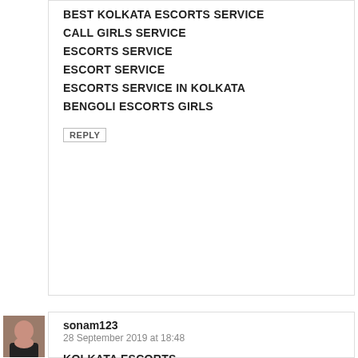BEST KOLKATA ESCORTS SERVICE
CALL GIRLS SERVICE
ESCORTS SERVICE
ESCORT SERVICE
ESCORTS SERVICE IN KOLKATA
BENGOLI ESCORTS GIRLS
REPLY
[Figure (photo): Avatar photo of a young woman in a black top]
sonam123
28 September 2019 at 18:48
KOLKATA ESCORTS
KOLKATA ESCORT
ESCORTS SERVICE IN KOLKATA
ESCORT SERVICE KOLKATA
ESCORTS SERVICE
ESCORT SERVICE
ESCORT
ESCORTS
FEMALE ESCORTS SERVICE KOLKATA
KOLKATA FEMALE ESCORTS SERVICE